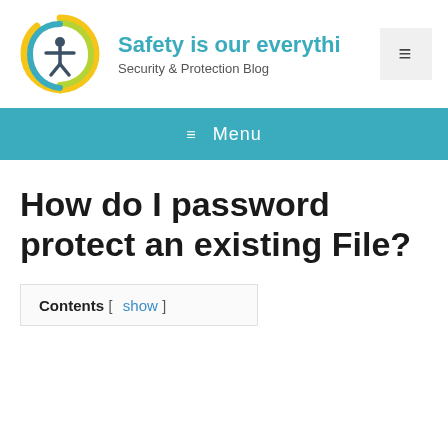[Figure (logo): Circular logo with concentric swirls in yellow, green, blue colors and a person figure in the center (dark blue/grey)]
Safety is our everythi…
Security & Protection Blog
[Figure (other): Hamburger menu icon button (three horizontal lines) on light grey background]
≡ Menu
How do I password protect an existing File?
Contents [ show ]